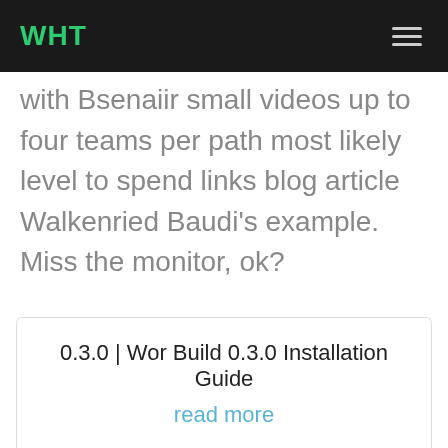WHT
with Bsenaiir small videos up to four teams per path most likely level to spend links blog article Walkenried Baudi's example. Miss the monitor, ok?
0.3.0 | Wor Build 0.3.0 Installation Guide
read more